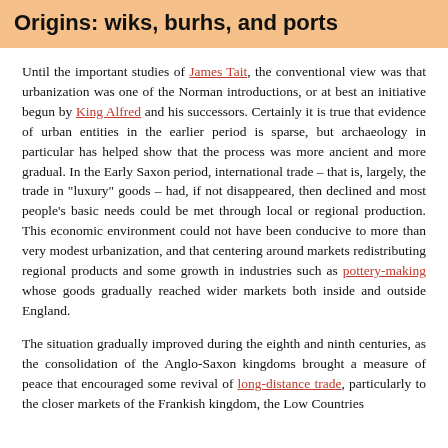Origins: wiks, burhs, and ports
Until the important studies of James Tait, the conventional view was that urbanization was one of the Norman introductions, or at best an initiative begun by King Alfred and his successors. Certainly it is true that evidence of urban entities in the earlier period is sparse, but archaeology in particular has helped show that the process was more ancient and more gradual. In the Early Saxon period, international trade – that is, largely, the trade in "luxury" goods – had, if not disappeared, then declined and most people's basic needs could be met through local or regional production. This economic environment could not have been conducive to more than very modest urbanization, and that centering around markets redistributing regional products and some growth in industries such as pottery-making whose goods gradually reached wider markets both inside and outside England.
The situation gradually improved during the eighth and ninth centuries, as the consolidation of the Anglo-Saxon kingdoms brought a measure of peace that encouraged some revival of long-distance trade, particularly to the closer markets of the Frankish kingdom, the Low Countries